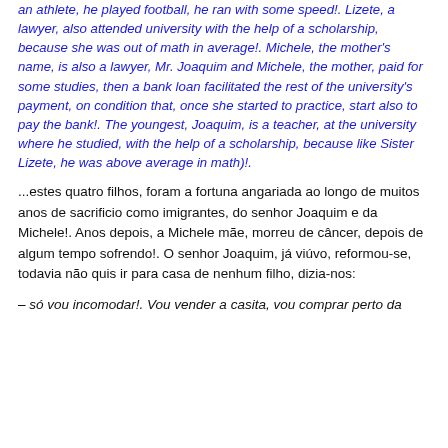an athlete, he played football, he ran with some speed!. Lizete, a lawyer, also attended university with the help of a scholarship, because she was out of math in average!. Michele, the mother's name, is also a lawyer, Mr. Joaquim and Michele, the mother, paid for some studies, then a bank loan facilitated the rest of the university's payment, on condition that, once she started to practice, start also to pay the bank!. The youngest, Joaquim, is a teacher, at the university where he studied, with the help of a scholarship, because like Sister Lizete, he was above average in math)!.
...estes quatro filhos, foram a fortuna angariada ao longo de muitos anos de sacrificio como imigrantes, do senhor Joaquim e da Michele!. Anos depois, a Michele mãe, morreu de câncer, depois de algum tempo sofrendo!. O senhor Joaquim, já viúvo, reformou-se, todavia não quis ir para casa de nenhum filho, dizia-nos:
– só vou incomodar!. Vou vender a casita, vou comprar perto da